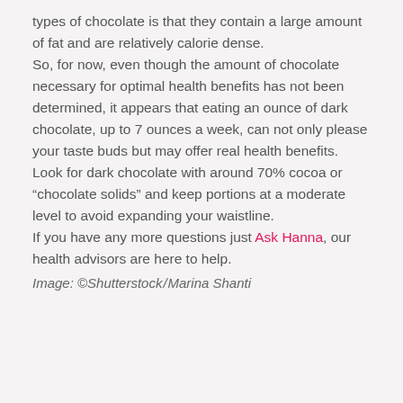types of chocolate is that they contain a large amount of fat and are relatively calorie dense. So, for now, even though the amount of chocolate necessary for optimal health ben efits has not been determined, it appears that eating an ounce of dark chocolate, up to 7 ounces a week, can not only please your taste buds but may offer real health benefits. Look for dark chocolate with around 70% cocoa or “chocolate solids” and keep portions at a moderate level to avoid expanding your waistline. If you have any more questions just Ask Hanna, our health advisors are here to help.
Image: ©Shutterstock / Marina Shanti